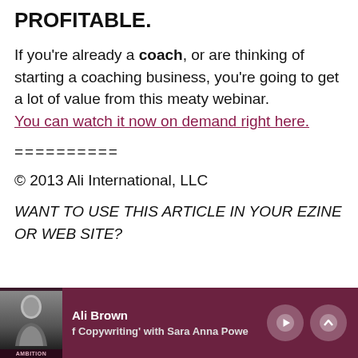PROFITABLE.
If you're already a coach, or are thinking of starting a coaching business, you're going to get a lot of value from this meaty webinar. You can watch it now on demand right here.
==========
© 2013 Ali International, LLC
WANT TO USE THIS ARTICLE IN YOUR EZINE OR WEB SITE?
Ali Brown | f Copywriting' with Sara Anna Powe